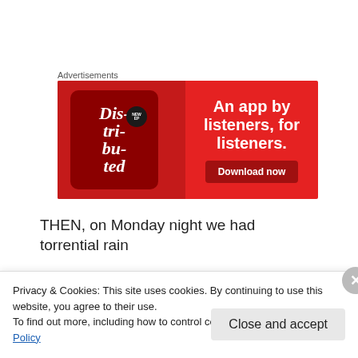Advertisements
[Figure (screenshot): Advertisement banner with red background. Left side shows a smartphone with a podcast app screen showing 'Dis-tri-buted' text. Right side shows white bold text 'An app by listeners, for listeners.' and a dark red 'Download now' button.]
THEN, on Monday night we had torrential rain
Privacy & Cookies: This site uses cookies. By continuing to use this website, you agree to their use.
To find out more, including how to control cookies, see here: Cookie Policy
Close and accept